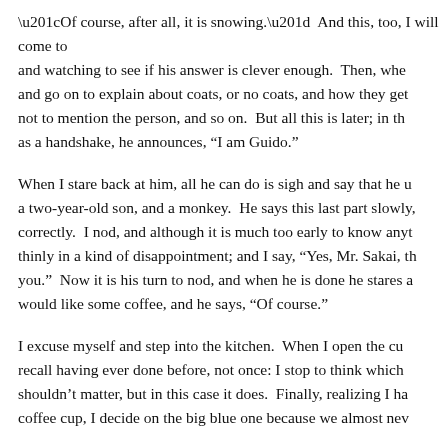“Of course, after all, it is snowing.”  And this, too, I will come to and watching to see if his answer is clever enough.  Then, whe and go on to explain about coats, or no coats, and how they get not to mention the person, and so on.  But all this is later; in th as a handshake, he announces, “I am Guido.”
When I stare back at him, all he can do is sigh and say that he u a two-year-old son, and a monkey.  He says this last part slowly, correctly.  I nod, and although it is much too early to know anyt thinly in a kind of disappointment; and I say, “Yes, Mr. Sakai, th you.”  Now it is his turn to nod, and when he is done he stares a would like some coffee, and he says, “Of course.”
I excuse myself and step into the kitchen.  When I open the cu recall having ever done before, not once: I stop to think which shouldn’t matter, but in this case it does.  Finally, realizing I ha coffee cup, I decide on the big blue one because we almost nev
Guido has not visited me before. Even before I can remember it